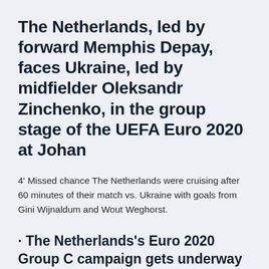The Netherlands, led by forward Memphis Depay, faces Ukraine, led by midfielder Oleksandr Zinchenko, in the group stage of the UEFA Euro 2020 at Johan
4' Missed chance The Netherlands were cruising after 60 minutes of their match vs. Ukraine with goals from Gini Wijnaldum and Wout Weghorst.
· The Netherlands's Euro 2020 Group C campaign gets underway on Sunday as they take on Ukraine at the Johan Cruijff Arena. The last time the Netherlands